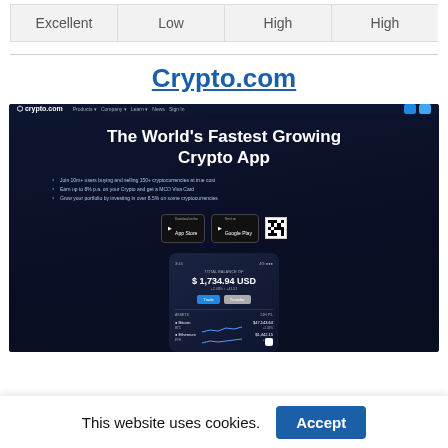| Excellent | Low | High | High |
| --- | --- | --- | --- |
Crypto.com
[Figure (screenshot): Screenshot of Crypto.com website showing 'The World's Fastest Growing Crypto App' hero section with app store buttons, QR code, and phone mockup displaying portfolio balance of $1,734.94 USD with Bitcoin and Ethereum holdings.]
This website uses cookies.